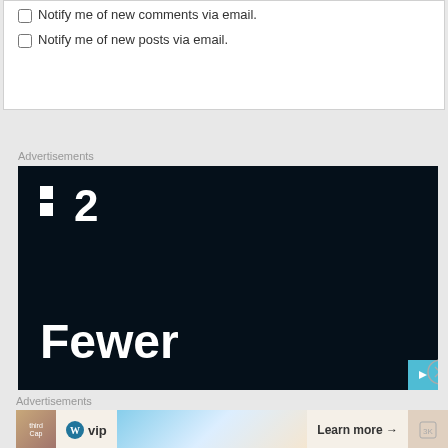Notify me of new comments via email.
Notify me of new posts via email.
Advertisements
[Figure (illustration): Dark navy advertisement banner featuring a logo with two white squares and the number 2, followed by large white text reading 'Fewer'. A teal arrow button appears in the bottom right, along with a close (X) button.]
Advertisements
[Figure (illustration): Bottom advertisement banner showing WordPress VIP logo and 'Learn more' button with arrow, with colorful background images.]